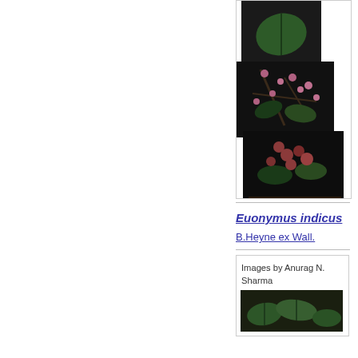[Figure (photo): Stacked botanical photographs of Euonymus indicus plant, showing leaf, flowers/berries, and orange fruit held in hand, arranged in overlapping vertical collage format]
Euonymus indicus
B.Heyne ex Wall.
[Figure (photo): Photograph of Euonymus indicus plant foliage]
Images by Anurag N. Sharma